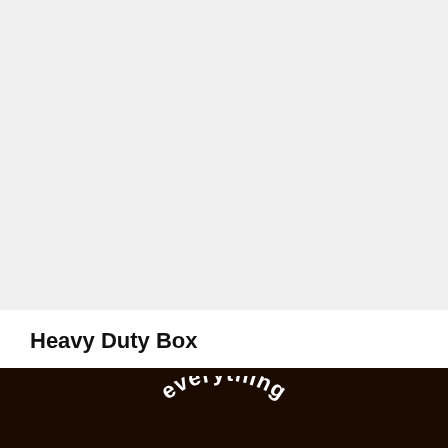[Figure (photo): Product image area with light gray background showing top portion of a heavy duty box product]
Heavy Duty Box
30 x 30 x 15 cm
$2.10
[Figure (logo): Dark brown footer section with curved/arc white text reading 'everything' forming part of a circular logo]